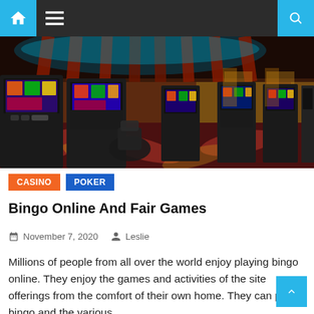Navigation bar with home icon, menu icon, and search icon
[Figure (photo): Interior of a casino showing rows of slot machines with colorful screens, decorative ceiling with red and brown panels, and ornate patterned carpet in red and gold tones.]
CASINO   POKER
Bingo Online And Fair Games
November 7, 2020   Leslie
Millions of people from all over the world enjoy playing bingo online. They enjoy the games and activities of the site offerings from the comfort of their own home. They can play bingo and the various